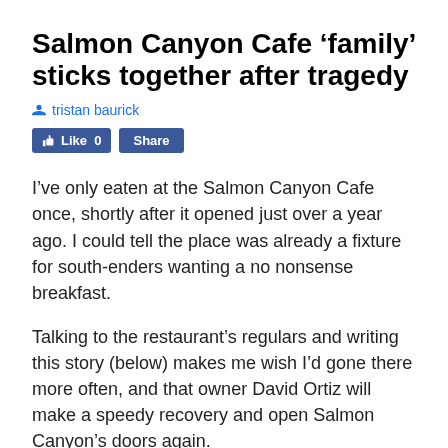Salmon Canyon Cafe ‘family’ sticks together after tragedy
♣ tristan baurick
Like 0   Share
I’ve only eaten at the Salmon Canyon Cafe once, shortly after it opened just over a year ago. I could tell the place was already a fixture for south-enders wanting a no nonsense breakfast.
Talking to the restaurant’s regulars and writing this story (below) makes me wish I’d gone there more often, and that owner David Ortiz will make a speedy recovery and open Salmon Canyon’s doors again.
Continue reading →